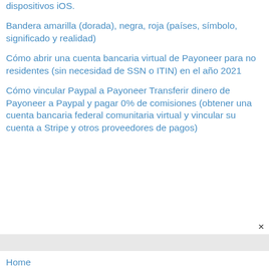dispositivos iOS.
Bandera amarilla (dorada), negra, roja (países, símbolo, significado y realidad)
Cómo abrir una cuenta bancaria virtual de Payoneer para no residentes (sin necesidad de SSN o ITIN) en el año 2021
Cómo vincular Paypal a Payoneer Transferir dinero de Payoneer a Paypal y pagar 0% de comisiones (obtener una cuenta bancaria federal comunitaria virtual y vincular su cuenta a Stripe y otros proveedores de pagos)
×
Home